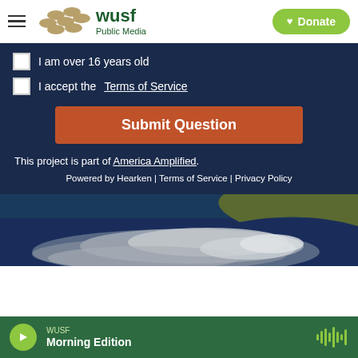[Figure (logo): WUSF Public Media logo with decorative dots and green text]
I am over 16 years old
I accept the Terms of Service
Submit Question
This project is part of America Amplified.
Powered by Hearken | Terms of Service | Privacy Policy
[Figure (photo): Aerial satellite view of a hurricane or tropical storm over ocean]
WUSF Morning Edition (audio player bar)